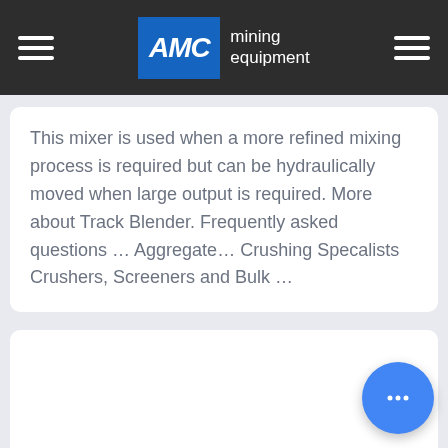AMC mining equipment
This mixer is used when a more refined mixing process is required but can be hydraulically moved when large output is required. More about Track Blender. Frequently asked questions … Aggregate… Crushing Specalists Crushers, Screeners and Bulk …
[Figure (other): Empty white card placeholder section]